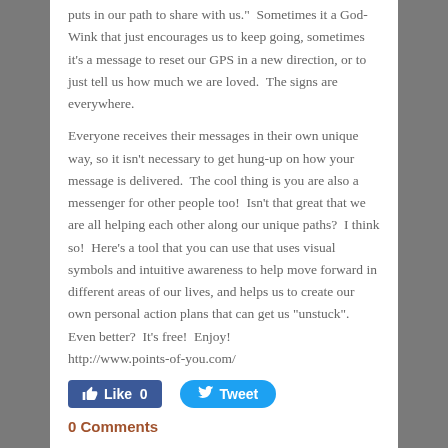puts in our path to share with us."  Sometimes it a God-Wink that just encourages us to keep going, sometimes it's a message to reset our GPS in a new direction, or to just tell us how much we are loved.  The signs are everywhere.
Everyone receives their messages in their own unique way, so it isn't necessary to get hung-up on how your message is delivered.  The cool thing is you are also a messenger for other people too!  Isn't that great that we are all helping each other along our unique paths?  I think so!  Here's a tool that you can use that uses visual symbols and intuitive awareness to help move forward in different areas of our lives, and helps us to create our own personal action plans that can get us "unstuck". Even better?  It's free!  Enjoy!
http://www.points-of-you.com/
[Figure (other): Social media buttons: Facebook Like (0) and Twitter Tweet]
0 Comments